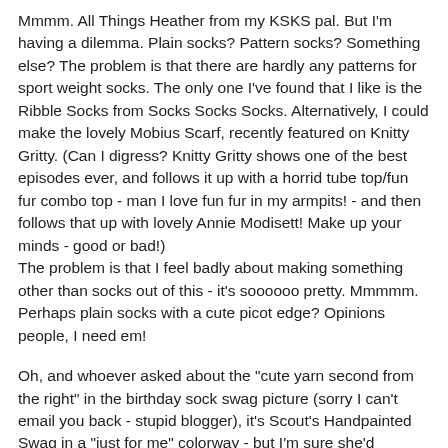Mmmm. All Things Heather from my KSKS pal. But I'm having a dilemma. Plain socks? Pattern socks? Something else? The problem is that there are hardly any patterns for sport weight socks. The only one I've found that I like is the Ribble Socks from Socks Socks Socks. Alternatively, I could make the lovely Mobius Scarf, recently featured on Knitty Gritty. (Can I digress? Knitty Gritty shows one of the best episodes ever, and follows it up with a horrid tube top/fun fur combo top - man I love fun fur in my armpits! - and then follows that up with lovely Annie Modisett! Make up your minds - good or bad!) The problem is that I feel badly about making something other than socks out of this - it's soooooo pretty. Mmmmm. Perhaps plain socks with a cute picot edge? Opinions people, I need em!
Oh, and whoever asked about the "cute yarn second from the right" in the birthday sock swag picture (sorry I can't email you back - stupid blogger), it's Scout's Handpainted Swag in a "just for me" colorway - but I'm sure she'd recreate it for you, right Scout? :)